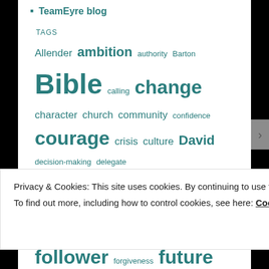TeamEyre blog
TAGS
Allender ambition authority Barton Bible calling change character church community confidence courage crisis culture David decision-making delegate development discernment diversity emerging empower established experience failure fear follower forgiveness future generation gifts God Holy Spirit
Privacy & Cookies: This site uses cookies. By continuing to use this website, you agree to their use.
To find out more, including how to control cookies, see here: Cookie Policy
Close and accept